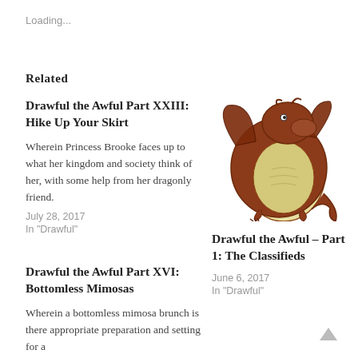Loading...
Related
Drawful the Awful Part XXIII: Hike Up Your Skirt
Wherein Princess Brooke faces up to what her kingdom and society think of her, with some help from her dragonly friend.
July 28, 2017
In "Drawful"
[Figure (illustration): Illustration of a dragon character, brown and yellow colored, in a cartoon style.]
Drawful the Awful – Part 1: The Classifieds
June 6, 2017
In "Drawful"
Drawful the Awful Part XVI: Bottomless Mimosas
Wherein a bottomless mimosa brunch is there appropriate preparation and setting for a